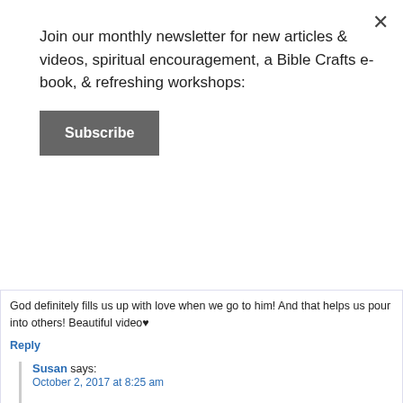Join our monthly newsletter for new articles & videos, spiritual encouragement, a Bible Crafts e-book, & refreshing workshops:
Subscribe
God definitely fills us up with love when we go to him! And that helps us pour into others! Beautiful video♥
Reply
Susan says: October 2, 2017 at 8:25 am
Yes, exactly! God’s love fills us up so that it spills onto others around us!
Reply
Heather says: October 2, 2017 at 11:46 am
I love that we are loved by God! Thanks for sharing this today, Susan! I always love your blog.
Reply